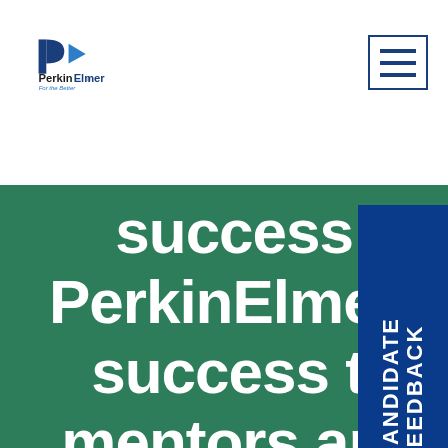[Figure (logo): PerkinElmer logo with blue P and arrow mark, text 'PerkinElmer' bold with 'For the Better' tagline in blue italic]
[Figure (other): Hamburger menu button (three horizontal lines) in blue border box, top right]
success is celebrated at PerkinElmer. I contribute every success to my supportive mentors and my team, the best that I have got in my entire
[Figure (other): Candidate Feedback vertical blue tab on right side]
We use cookies and other tracking technologies to assist with navigation, improve our products and services, assist with our marketing efforts, and provide content from third parties. By continuing to use this site you agree to our use of cookies in accordance with our privacy policy. Manage third-party cookie preferences here.
Accept